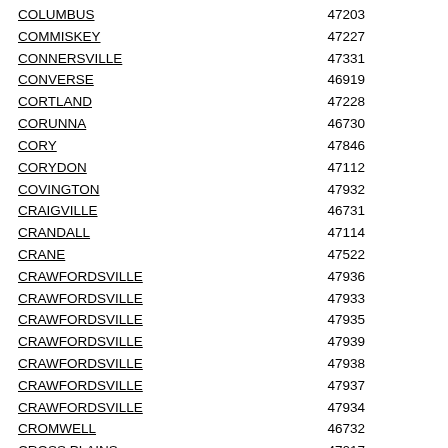| City | ZIP |
| --- | --- |
| COLUMBUS | 47203 |
| COMMISKEY | 47227 |
| CONNERSVILLE | 47331 |
| CONVERSE | 46919 |
| CORTLAND | 47228 |
| CORUNNA | 46730 |
| CORY | 47846 |
| CORYDON | 47112 |
| COVINGTON | 47932 |
| CRAIGVILLE | 46731 |
| CRANDALL | 47114 |
| CRANE | 47522 |
| CRAWFORDSVILLE | 47936 |
| CRAWFORDSVILLE | 47933 |
| CRAWFORDSVILLE | 47935 |
| CRAWFORDSVILLE | 47939 |
| CRAWFORDSVILLE | 47938 |
| CRAWFORDSVILLE | 47937 |
| CRAWFORDSVILLE | 47934 |
| CROMWELL | 46732 |
| CROSS PLAINS | 47017 |
| CROTHERSVILLE | 47229 |
| CROWN POINT | 46308 |
| CROWN POINT | 46307 |
| CULVER | 46511 |
| CUTLER | 46920 |
| CYNTHIANA | 47612 |
|  |  |
| DALE | 47523 |
| DALEVILLE | 47334 |